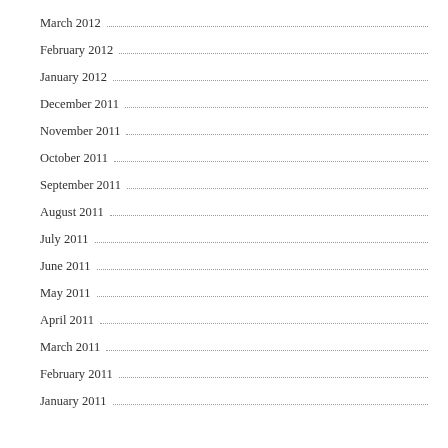March 2012
February 2012
January 2012
December 2011
November 2011
October 2011
September 2011
August 2011
July 2011
June 2011
May 2011
April 2011
March 2011
February 2011
January 2011